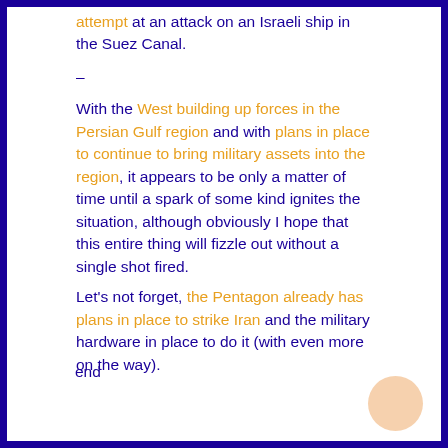attempt at an attack on an Israeli ship in the Suez Canal.
–
With the West building up forces in the Persian Gulf region and with plans in place to continue to bring military assets into the region, it appears to be only a matter of time until a spark of some kind ignites the situation, although obviously I hope that this entire thing will fizzle out without a single shot fired.
Let's not forget, the Pentagon already has plans in place to strike Iran and the military hardware in place to do it (with even more on the way).
end